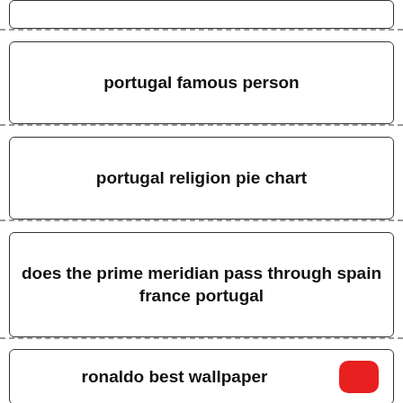portugal famous person
portugal religion pie chart
does the prime meridian pass through spain france portugal
ronaldo best wallpaper